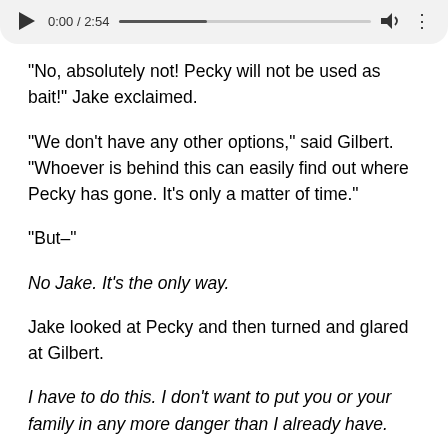[Figure (other): Audio player UI showing play button, time 0:00 / 2:54, progress bar, volume icon, and more options icon]
“No, absolutely not! Pecky will not be used as bait!” Jake exclaimed.
“We don’t have any other options,” said Gilbert. “Whoever is behind this can easily find out where Pecky has gone. It’s only a matter of time.”
“But–”
No Jake. It’s the only way.
Jake looked at Pecky and then turned and glared at Gilbert.
I have to do this. I don’t want to put you or your family in any more danger than I already have.